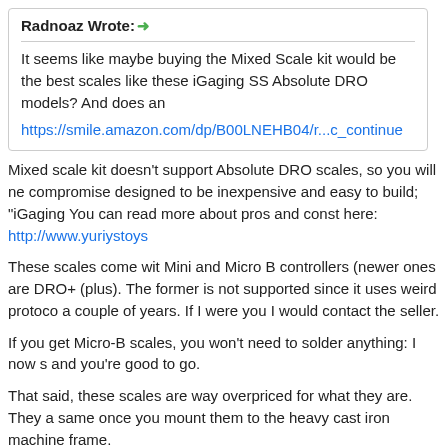Radnoaz Wrote: →
It seems like maybe buying the Mixed Scale kit would be the best scales like these iGaging SS Absolute DRO models? And does an
https://smile.amazon.com/dp/B00LNEHB04/r...c_continue
Mixed scale kit doesn't support Absolute DRO scales, so you will ne compromise designed to be inexpensive and easy to build; "iGaging You can read more about pros and const here: http://www.yuriystoys
These scales come wit Mini and Micro B controllers (newer ones are DRO+ (plus). The former is not supported since it uses weird protoco a couple of years. If I were you I would contact the seller.
If you get Micro-B scales, you won't need to solder anything: I now s and you're good to go.
That said, these scales are way overpriced for what they are. They a same once you mount them to the heavy cast iron machine frame.
Regards